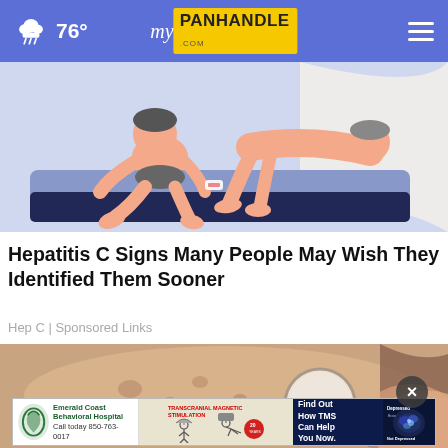76° myPanhandle.com
[Figure (illustration): Illustration of two people sitting/lying on a bed, one person appearing ill or in discomfort, cartoon/vector style with blue-grey bedding]
Hepatitis C Signs Many People May Wish They Identified Them Sooner
Hep C | Sponsored Links
[Figure (illustration): Illustration showing skin with spots/rashes, with a magnifying glass, cartoon medical style]
[Figure (other): Emerald Coast Behavioral Hospital advertisement banner. Text: Find Out How TMS Can Help You Now. Call today 850-763-0017. Shows brain scan imagery with Depressed/Not Depressed labels.]